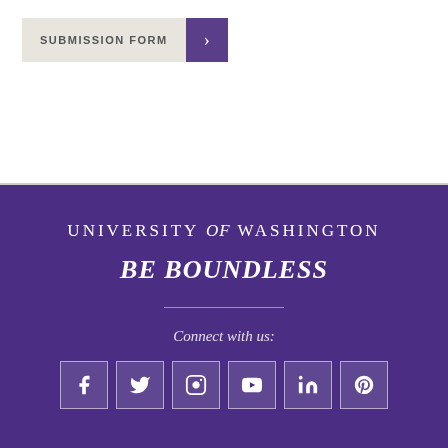SUBMISSION FORM →
UNIVERSITY of WASHINGTON
BE BOUNDLESS
Connect with us:
[Figure (infographic): Row of six social media icons: Facebook, Twitter, Instagram, YouTube, LinkedIn, Pinterest — white icons on semi-transparent bordered square backgrounds over purple footer.]